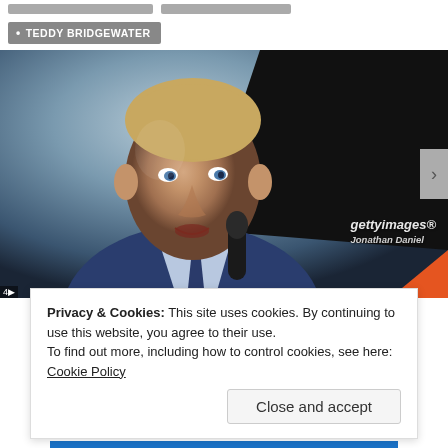TEDDY BRIDGEWATER
[Figure (photo): Photo of a man in a blue suit speaking at a podium with a microphone, with a gettyimages watermark and photographer credit 'Jonathan Daniel']
Privacy & Cookies: This site uses cookies. By continuing to use this website, you agree to their use.
To find out more, including how to control cookies, see here: Cookie Policy
Close and accept